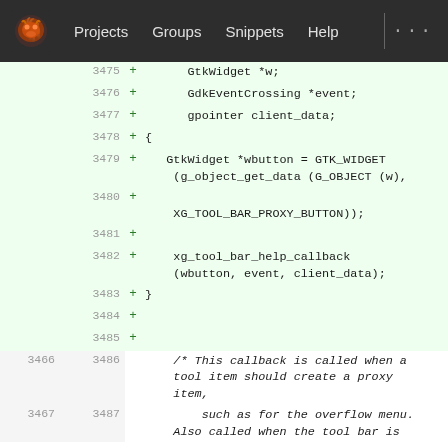Projects  Groups  Snippets  Help
[Figure (screenshot): GitLab code diff view showing added lines 3475-3485 and context lines 3466/3486, 3467/3487 with C code for GtkWidget callback function]
3475  +      GtkWidget *w;
3476  +      GdkEventCrossing *event;
3477  +      gpointer client_data;
3478  + {
3479  +    GtkWidget *wbutton = GTK_WIDGET
         (g_object_get_data (G_OBJECT (w),
3480  +
         XG_TOOL_BAR_PROXY_BUTTON));
3481  +
3482  +    xg_tool_bar_help_callback
         (wbutton, event, client_data);
3483  + }
3484  +
3485  +
3466 3486      /* This callback is called when a
         tool item should create a proxy
         item,
3467 3487          such as for the overflow menu.
         Also called when the tool bar is